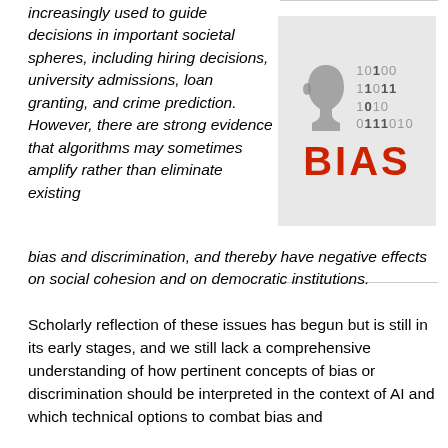increasingly used to guide decisions in important societal spheres, including hiring decisions, university admissions, loan granting, and crime prediction. However, there are strong evidence that algorithms may sometimes amplify rather than eliminate existing bias and discrimination, and thereby have negative effects on social cohesion and on democratic institutions.
[Figure (illustration): A grey box containing a stylized face silhouette on the left and binary numbers (10100, 11011, 1010, 0111010) on the right, with the word BIAS in large red bold text below.]
Scholarly reflection of these issues has begun but is still in its early stages, and we still lack a comprehensive understanding of how pertinent concepts of bias or discrimination should be interpreted in the context of AI and which technical options to combat bias and